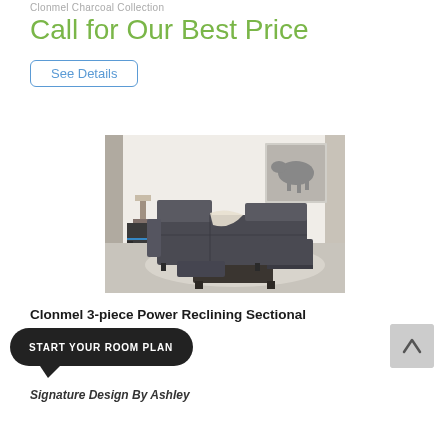Clonmel Charcoal Collection
Call for Our Best Price
See Details
[Figure (photo): Photo of a gray 3-piece power reclining sectional sofa in a living room setting with a coffee table, lamp, and wall art]
Clonmel 3-piece Power Reclining Sectional
START YOUR ROOM PLAN
Signature Design By Ashley